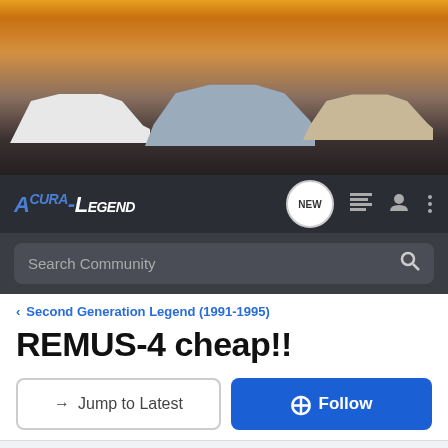[Figure (photo): Acura Legend forum header banner showing three classic Acura Legend sedans (white, silver, gold) against a sunset/desert backdrop]
ACURA-LEGEND | NEW | Search Community
< Second Generation Legend (1991-1995)
REMUS-4 cheap!!
→ Jump to Latest    ⊕ Follow
1 - 5 of 5 Posts
legendura24/7 · Registered
Joined Jul 2, 2002 · 27 Posts